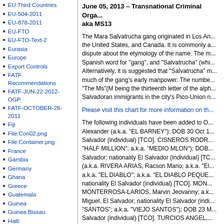EU Third Countries
EU-504-2011
EU-878-2011
EU-FTO
EU-FTO-Text-2
Eurasia
Europe
Export Controls
FATF Recommendations
FATF-JUN-22-2012-OGP
FATF-OCTOBER-28-2011
Fiji
File:Con02.png
File:Container.png
France
Gambia
Germany
Ghana
Greece
Guatemala
Guinea
Guinea Bissau
Haiti
Honduras
Hong Kong
India
Indonesia
International Traffic in Arms Regulations
International Traffic in Arms Regulations
Iran
IRAN Sanctions Timeline
June 05, 2013 – Transnational Criminal Orga... aka MS13
The Mara Salvatrucha gang originated in Los An... the United States, and Canada. It is commonly a... dispute about the etymology of the name. The m... Spanish word for "gang", and "Salvatrucha" (whi... Alternatively, it is suggested that "Salvatrucha" n... much of the gang's early manpower. The numbe... "The Ms"(M being the thirteenth letter of the alph... Salvadoran immigrants in the city's Pico-Union n...
Please visit this chart for more information on th...
The following individuals have been added to O... Alexander (a.k.a. "EL BARNEY"); DOB 30 Oct 1... Salvador (individual) [TCO]. CISNEROS RODR... "HALF MILLION"; a.k.a. "MEDIO MLON"); DOB... Salvador; nationality El Salvador (individual) [TC... (a.k.a. RIVERA ARIAS, Racson Mario; a.k.a. "El... a.k.a. "EL DIABLO"; a.k.a. "EL DIABLO PEQUE... nationality El Salvador (individual) [TCO]. MON... MONTERROSA-LARIOS, Marvin Jeovanny; a.k... Miguel, El Salvador; nationality El Salvador (indi... "SANTOS"; a.k.a. "VIEJO SANTOS"); DOB 23 M... Salvador (individual) [TCO]. TURCIOS ANGEL,... DOB 17 May 1978; POB Zaragoza, La Libertad,... </sort> OFAC Recent Actions
Retrieved from "http://sanctionswiki.org/Dominic...